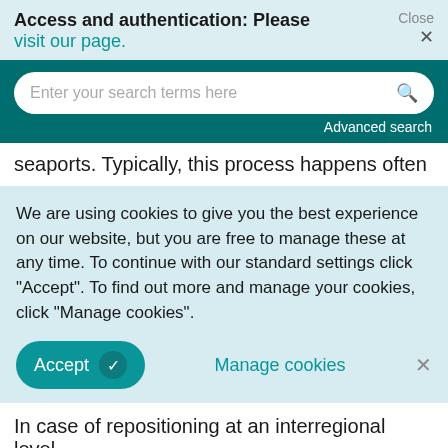Access and authentication: Please visit our page.
Close ×
Enter your search terms here
Advanced search
seaports. Typically, this process happens often
We are using cookies to give you the best experience on our website, but you are free to manage these at any time. To continue with our standard settings click "Accept". To find out more and manage your cookies, click "Manage cookies".
Accept   Manage cookies  ×
In case of repositioning at an interregional level,